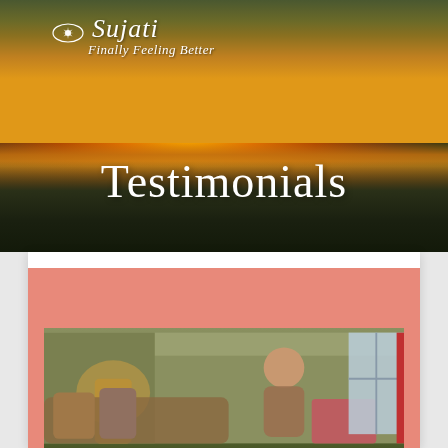[Figure (photo): Hero banner with dramatic sunset/sunrise landscape showing golden sky with clouds reflected in water, dark silhouetted treeline, warm orange and yellow tones]
Sujati — Finally Feeling Better
Testimonials
[Figure (photo): Photo of a woman (practitioner) seated in a treatment room with warm interior lighting, large window, cushions and pillows, red accent visible on right side]